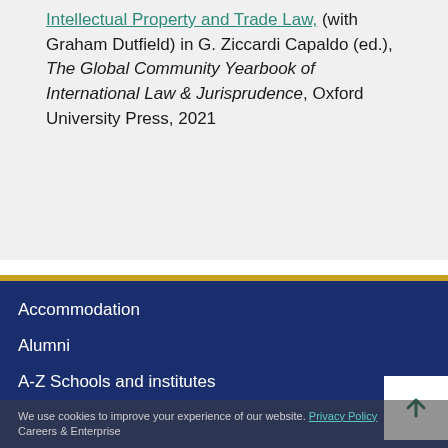Intellectual Property and Trade Law (with Graham Dutfield) in G. Ziccardi Capaldo (ed.), The Global Community Yearbook of International Law & Jurisprudence, Oxford University Press, 2021
Accommodation
Alumni
A-Z Schools and institutes
We use cookies to improve your experience of our website. Privacy Policy Careers & Enterprise